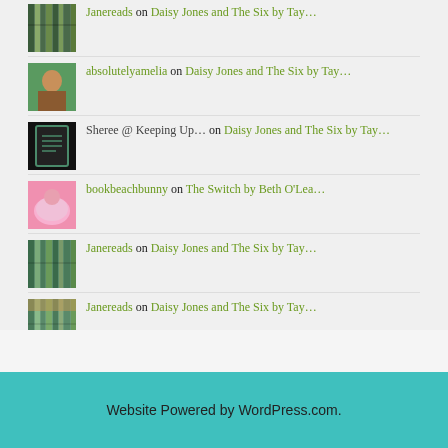Janereads on Daisy Jones and The Six by Tay…
absolutelyamelia on Daisy Jones and The Six by Tay…
Sheree @ Keeping Up… on Daisy Jones and The Six by Tay…
bookbeachbunny on The Switch by Beth O'Lea…
Janereads on Daisy Jones and The Six by Tay…
Janereads on Daisy Jones and The Six by Tay…
Website Powered by WordPress.com.